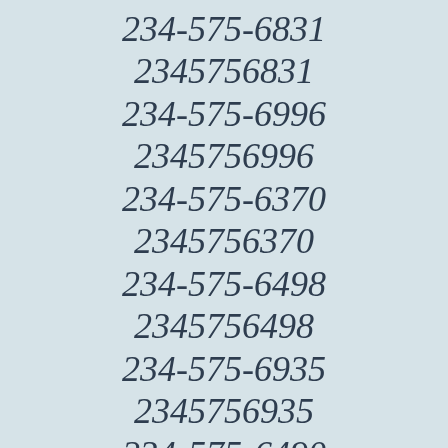234-575-6831
2345756831
234-575-6996
2345756996
234-575-6370
2345756370
234-575-6498
2345756498
234-575-6935
2345756935
234-575-6490
2345756490
234-575-6195
2345756195
234-575-6357
2345756357